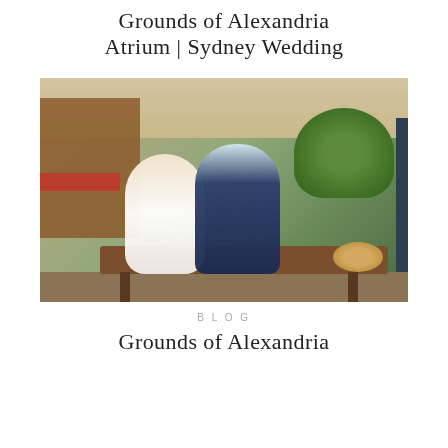Grounds of Alexandria Atrium | Sydney Wedding
[Figure (photo): Wedding couple – bride in white dress and groom in navy suit – sitting together on a wooden bench at the Grounds of Alexandria outdoor area, surrounded by greenery, garden beds, pumpkins, and rustic market-style buildings with string lights in the background.]
BLOG
Grounds of Alexandria